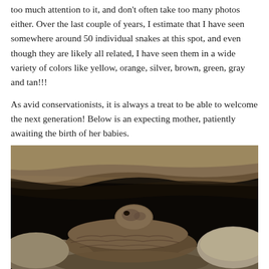too much attention to it, and don't often take too many photos either. Over the last couple of years, I estimate that I have seen somewhere around 50 individual snakes at this spot, and even though they are likely all related, I have seen them in a wide variety of colors like yellow, orange, silver, brown, green, gray and tan!!!
As avid conservationists, it is always a treat to be able to welcome the next generation! Below is an expecting mother, patiently awaiting the birth of her babies.
[Figure (photo): A rattlesnake coiled under a rocky overhang, showing its patterned brown and gray scales. The snake's head is visible resting among its coils, surrounded by rocks.]